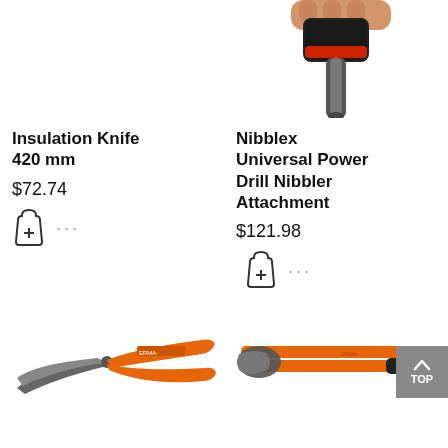[Figure (photo): Partial top view of a Nibblex Universal Power Drill Nibbler Attachment tool being held]
Insulation Knife 420 mm
$72.74
Nibblex Universal Power Drill Nibbler Attachment
$121.98
[Figure (photo): Metal cutting scissors/snips with orange handles (ERMA brand), left-cut variant]
[Figure (photo): Long-handled garden loppers / cutting tool with orange and black handles (ERMA brand)]